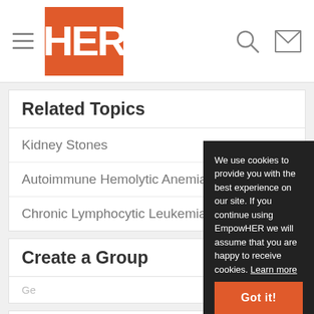HER
Related Topics
Kidney Stones
Autoimmune Hemolytic Anemia
Chronic Lymphocytic Leukemia
Create a Group
Ge...
Related Checklists
Non-Hodgkin's Lymphoma Advocacy Sheet
We use cookies to provide you with the best experience on our site. If you continue using EmpowHER we will assume that you are happy to receive cookies. Learn more
Got it!